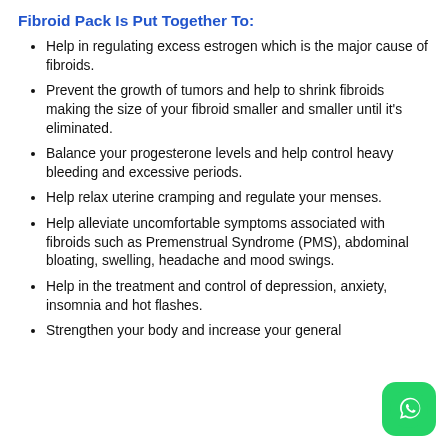Fibroid Pack Is Put Together To:
Help in regulating excess estrogen which is the major cause of fibroids.
Prevent the growth of tumors and help to shrink fibroids making the size of your fibroid smaller and smaller until it's eliminated.
Balance your progesterone levels and help control heavy bleeding and excessive periods.
Help relax uterine cramping and regulate your menses.
Help alleviate uncomfortable symptoms associated with fibroids such as Premenstrual Syndrome (PMS), abdominal bloating, swelling, headache and mood swings.
Help in the treatment and control of depression, anxiety, insomnia and hot flashes.
Strengthen your body and increase your general